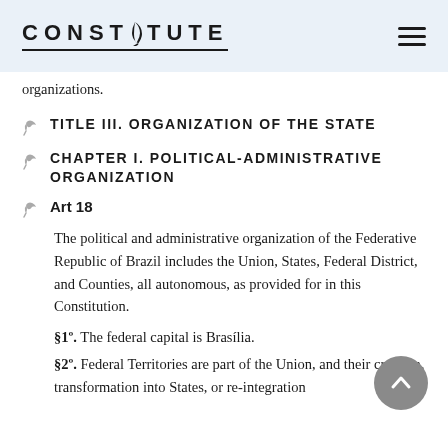CONSTITUTE
organizations.
TITLE III. ORGANIZATION OF THE STATE
CHAPTER I. POLITICAL-ADMINISTRATIVE ORGANIZATION
Art 18
The political and administrative organization of the Federative Republic of Brazil includes the Union, States, Federal District, and Counties, all autonomous, as provided for in this Constitution.
§1º. The federal capital is Brasília.
§2º. Federal Territories are part of the Union, and their creation, transformation into States, or re-integration